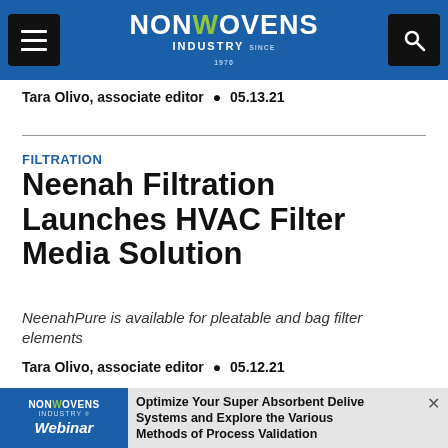NONWOVENS INDUSTRY
Tara Olivo, associate editor • 05.13.21
FILTRATION
Neenah Filtration Launches HVAC Filter Media Solution
NeenahPure is available for pleatable and bag filter elements
Tara Olivo, associate editor • 05.12.21
[Figure (other): Nonwovens Industry Webinar advertisement banner: Optimize Your Super Absorbent Delivery Systems and Explore the Various Methods of Process Validation]